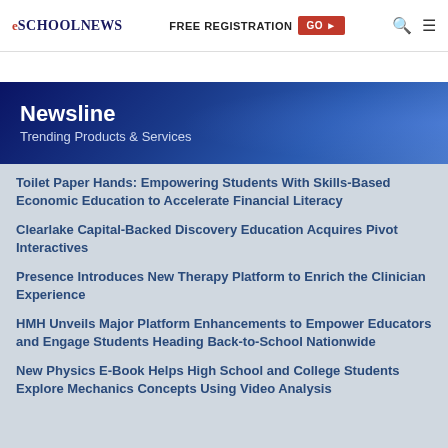eSchool News | FREE REGISTRATION GO ►
[Figure (illustration): Newsline banner with dark blue gradient background, title 'Newsline' and subtitle 'Trending Products & Services']
Toilet Paper Hands: Empowering Students With Skills-Based Economic Education to Accelerate Financial Literacy
Clearlake Capital-Backed Discovery Education Acquires Pivot Interactives
Presence Introduces New Therapy Platform to Enrich the Clinician Experience
HMH Unveils Major Platform Enhancements to Empower Educators and Engage Students Heading Back-to-School Nationwide
New Physics E-Book Helps High School and College Students Explore Mechanics Concepts Using Video Analysis